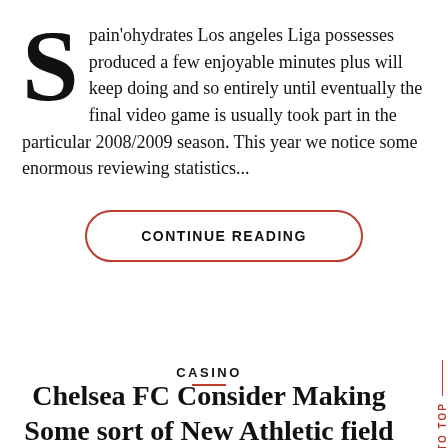Spain'ohydrates Los angeles Liga possesses produced a few enjoyable minutes plus will keep doing and so entirely until eventually the final video game is usually took part in the particular 2008/2009 season. This year we notice some enormous reviewing statistics...
CONTINUE READING
BACK TO TOP
CASINO
Chelsea FC Consider Making Some sort of New Athletic field